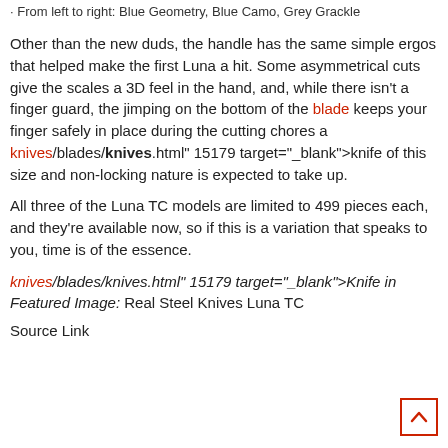From left to right: Blue Geometry, Blue Camo, Grey Grackle
Other than the new duds, the handle has the same simple ergos that helped make the first Luna a hit. Some asymmetrical cuts give the scales a 3D feel in the hand, and, while there isn't a finger guard, the jimping on the bottom of the blade keeps your finger safely in place during the cutting chores a knives/blades/knives.html" 15179 target="_blank">knife of this size and non-locking nature is expected to take up.
All three of the Luna TC models are limited to 499 pieces each, and they're available now, so if this is a variation that speaks to you, time is of the essence.
knives/blades/knives.html" 15179 target="_blank">Knife in Featured Image: Real Steel Knives Luna TC
Source Link